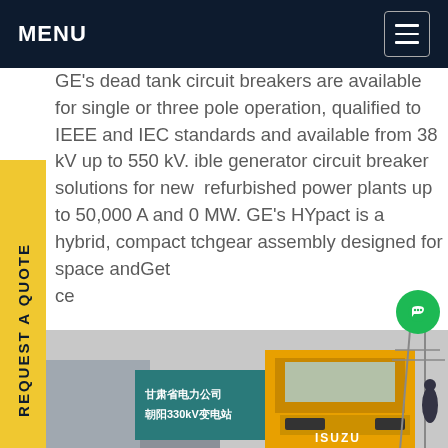MENU
GE's dead tank circuit breakers are available for single or three pole operation, qualified to IEEE and IEC standards and available from 38 kV up to 550 kV. flexible generator circuit breaker solutions for new and refurbished power plants up to 50,000 A and 1500 MW. GE's HYpact is a hybrid, compact switchgear assembly designed for space andGet price
[Figure (photo): Outdoor substation scene with a yellow ISUZU truck parked in front of a teal sign reading 甘肃省电力公司 朝阳330kV变电站 (Gansu Electric Power Company Chaoyang 330kV Substation). Power transmission towers visible in background. Workers visible on right side.]